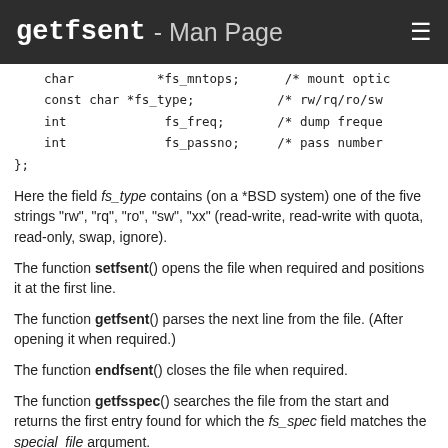getfsent - Man Page
char           *fs_mntops;      /* mount opti
    const char *fs_type;           /* rw/rq/ro/sw
    int             fs_freq;       /* dump freque
    int             fs_passno;     /* pass number
};
Here the field fs_type contains (on a *BSD system) one of the five strings "rw", "rq", "ro", "sw", "xx" (read-write, read-write with quota, read-only, swap, ignore).
The function setfsent() opens the file when required and positions it at the first line.
The function getfsent() parses the next line from the file. (After opening it when required.)
The function endfsent() closes the file when required.
The function getfsspec() searches the file from the start and returns the first entry found for which the fs_spec field matches the special_file argument.
The function getfsfile() searches the file from the start and